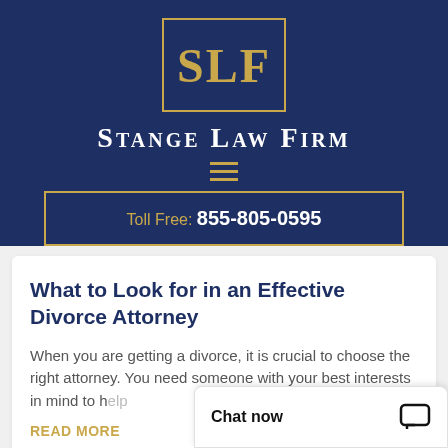[Figure (logo): SLF logo — gold letters S, L, F in a gold-bordered box on a dark navy background]
Stange Law Firm
[Figure (other): Hamburger menu icon — three gold horizontal lines]
Toll Free: 855-805-0595
What to Look for in an Effective Divorce Attorney
When you are getting a divorce, it is crucial to choose the right attorney. You need someone with your best interests in mind to help
READ MORE
Chat now